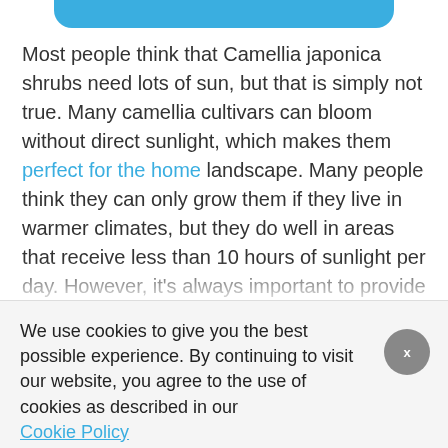[Figure (other): Blue rounded bar at top of page, partial UI element]
Most people think that Camellia japonica shrubs need lots of sun, but that is simply not true. Many camellia cultivars can bloom without direct sunlight, which makes them perfect for the home landscape. Many people think they can only grow them if they live in warmer climates, but they do well in areas that receive less than 10 hours of sunlight per day. However, it's always important to provide your plants with the proper amount of sunlight and nutrients. If you grow your plant in an environment where light is restricted, you may need to increase the light they receive.
We use cookies to give you the best possible experience. By continuing to visit our website, you agree to the use of cookies as described in our Cookie Policy